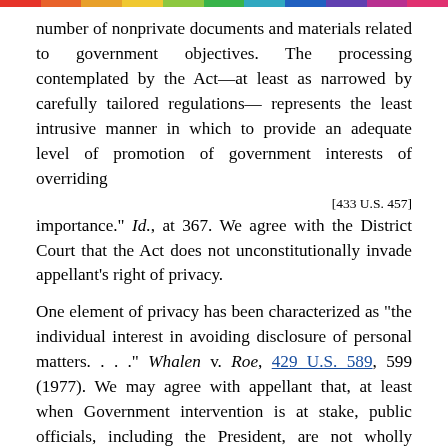number of nonprivate documents and materials related to government objectives. The processing contemplated by the Act—at least as narrowed by carefully tailored regulations— represents the least intrusive manner in which to provide an adequate level of promotion of government interests of overriding
[433 U.S. 457]
importance." Id., at 367. We agree with the District Court that the Act does not unconstitutionally invade appellant's right of privacy.
One element of privacy has been characterized as "the individual interest in avoiding disclosure of personal matters. . . ." Whalen v. Roe, 429 U.S. 589, 599 (1977). We may agree with appellant that, at least when Government intervention is at stake, public officials, including the President, are not wholly without constitutionally protected privacy rights in matters of personal life